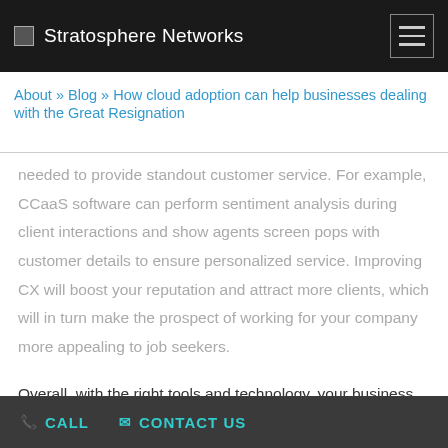Stratosphere Networks
About » Blog » How cloud adoption can help businesses dealing with the Great Resignation
needed to provide standout customer service. For example, CCaaS software can perform sentiment analysis during client interactions and show agents screen pops with customer details to ensure personalized service. Improving CX will boost your reputation and attract more clients, which will in turn make the prospect of working for your company more appealing to job seekers.
Overall, with the right tools and technology, your business
CALL   CONTACT US